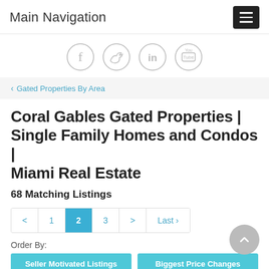Main Navigation
[Figure (illustration): Social media icon circles: Facebook, Twitter, LinkedIn, YouTube]
< Gated Properties By Area
Coral Gables Gated Properties | Single Family Homes and Condos | Miami Real Estate
68 Matching Listings
< 1 2 3 > Last >
Order By:
Seller Motivated Listings  Biggest Price Changes